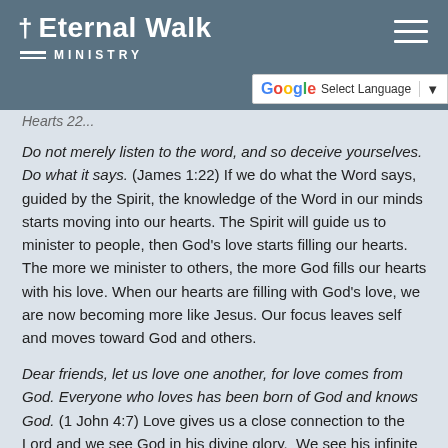† Eternal Walk MINISTRY
Do not merely listen to the word, and so deceive yourselves. Do what it says. (James 1:22) If we do what the Word says, guided by the Spirit, the knowledge of the Word in our minds starts moving into our hearts. The Spirit will guide us to minister to people, then God's love starts filling our hearts.  The more we minister to others, the more God fills our hearts with his love. When our hearts are filling with God's love, we are now becoming more like Jesus. Our focus leaves self and moves toward God and others.
Dear friends, let us love one another, for love comes from God. Everyone who loves has been born of God and knows God. (1 John 4:7) Love gives us a close connection to the Lord and we see God in his divine glory.  We see his infinite love and power, and we become smaller and